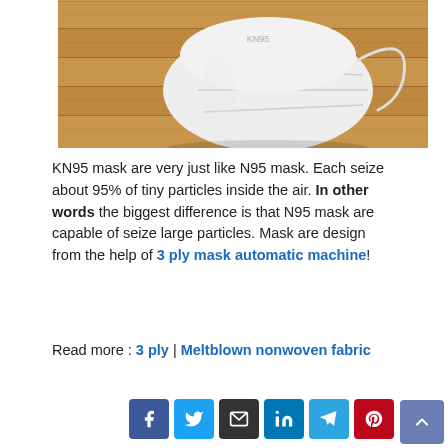[Figure (photo): A white KN95 face mask with ear loops resting on wooden deck planks]
KN95 mask are very just like N95 mask. Each seize about 95% of tiny particles inside the air. In other words the biggest difference is that N95 mask are capable of seize large particles. Mask are design from the help of 3 ply mask automatic machine!
Read more : 3 ply | Meltblown nonwoven fabric